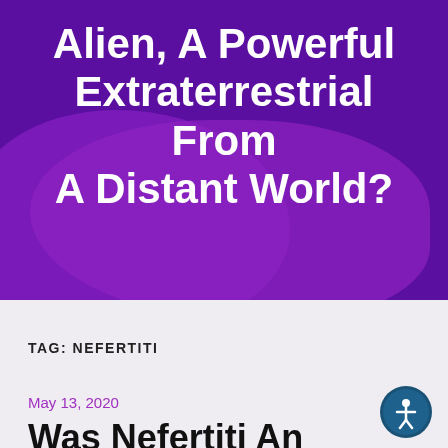[Figure (illustration): Purple hero banner background with overlapping blob shapes in shades of purple and magenta]
Alien, A Powerful Extraterrestrial From A Distant World?
TAG: NEFERTITI
May 13, 2020
Was Nefertiti An Alien, A